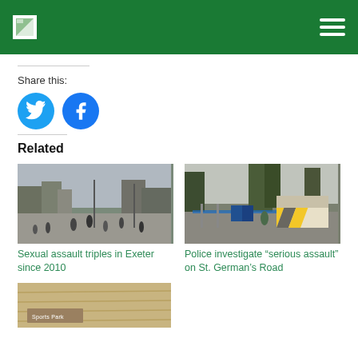[Site logo and navigation hamburger menu]
Share this:
[Figure (other): Twitter share button (blue circle with bird icon)]
[Figure (other): Facebook share button (blue circle with f icon)]
Related
[Figure (photo): Outdoor scene with people walking in a town square or street area, overcast sky]
Sexual assault triples in Exeter since 2010
[Figure (photo): Street scene with police tape, emergency vehicle with yellow chevrons, trees in background]
Police investigate “serious assault” on St. German’s Road
[Figure (photo): Close-up of a wooden surface with a plaque reading Sports Park]